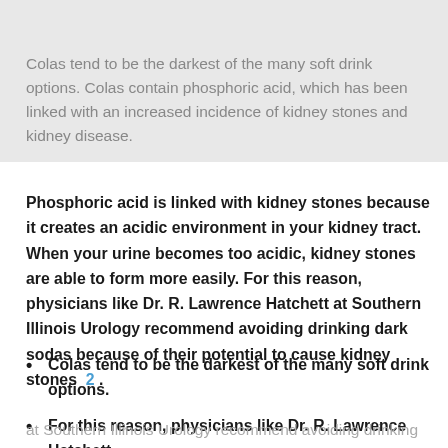Colas tend to be the darkest of the many soft drink options. Colas contain phosphoric acid, which has been linked with an increased incidence of kidney stones and kidney disease.
Phosphoric acid is linked with kidney stones because it creates an acidic environment in your kidney tract. When your urine becomes too acidic, kidney stones are able to form more easily. For this reason, physicians like Dr. R. Lawrence Hatchett at Southern Illinois Urology recommend avoiding drinking dark sodas because of their potential to cause kidney stones 2 .
Colas tend to be the darkest of the many soft drink options.
For this reason, physicians like Dr. R. Lawrence Hatchett at Southern Illinois Urology recommend avoiding drinking